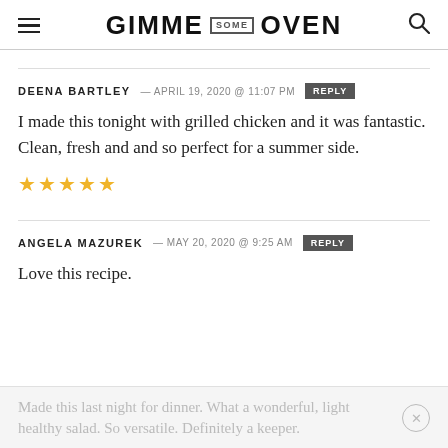GIMME SOME OVEN
DEENA BARTLEY — APRIL 19, 2020 @ 11:07 PM   REPLY
I made this tonight with grilled chicken and it was fantastic. Clean, fresh and and so perfect for a summer side.
★★★★★
ANGELA MAZUREK — MAY 20, 2020 @ 9:25 AM   REPLY
Love this recipe.
Made this last night for dinner. What a wonderful, light healthy salad. So versatile. Definitely a keeper.